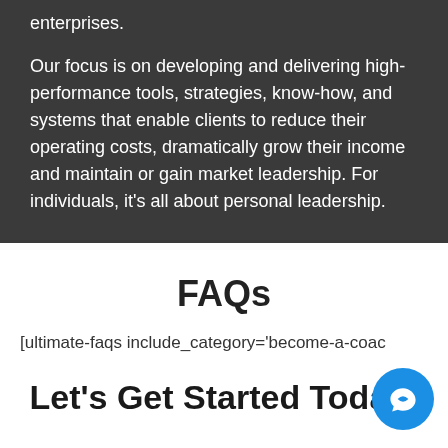enterprises.
Our focus is on developing and delivering high-performance tools, strategies, know-how, and systems that enable clients to reduce their operating costs, dramatically grow their income and maintain or gain market leadership. For individuals, it's all about personal leadership.
FAQs
[ultimate-faqs include_category='become-a-coac
Let's Get Started Today!